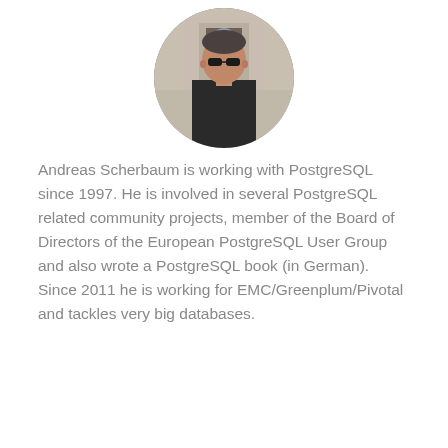[Figure (photo): Circular cropped portrait photo of Andreas Scherbaum, a man wearing dark sunglasses and a dark shirt, standing outdoors in front of a stone arch monument.]
Andreas Scherbaum is working with PostgreSQL since 1997. He is involved in several PostgreSQL related community projects, member of the Board of Directors of the European PostgreSQL User Group and also wrote a PostgreSQL book (in German). Since 2011 he is working for EMC/Greenplum/Pivotal and tackles very big databases.